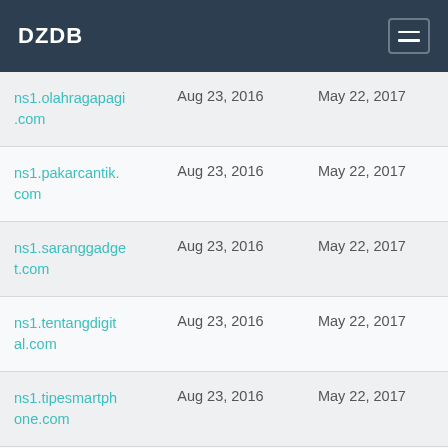DZDB
| ns1.olahragapagi.com | Aug 23, 2016 | May 22, 2017 |
| ns1.pakarcantik.com | Aug 23, 2016 | May 22, 2017 |
| ns1.saranggadget.com | Aug 23, 2016 | May 22, 2017 |
| ns1.tentangdigital.com | Aug 23, 2016 | May 22, 2017 |
| ns1.tipesmartphone.com | Aug 23, 2016 | May 22, 2017 |
| ns1.trickgadget.c | Aug 23, 2016 | May 22, 2017 |